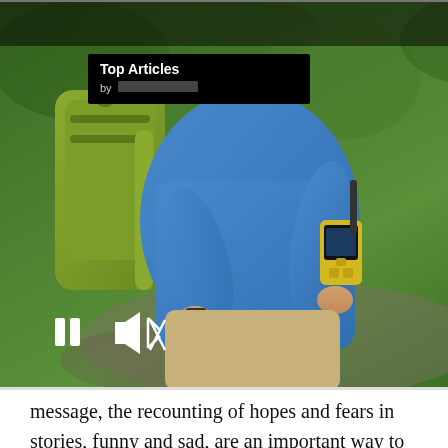[Figure (screenshot): Advertisement overlay showing a hiker with a satellite communicator device, with 'Top Articles' box, pause/mute controls, and arrow navigation button. Right side shows dark panel with text: 'The best satellite communicators for global coverage']
message, the recounting of hopes and fears in stories, funny and sad, are an important way to understand something as complex as wartime experiences from a personal point of view. This has been true in the past, even with censorship, and it will be true in the future, too, no matter what form letters take.
[Figure (photo): Bottom photograph showing a hiker/person outdoors, partially visible at the bottom of the page]